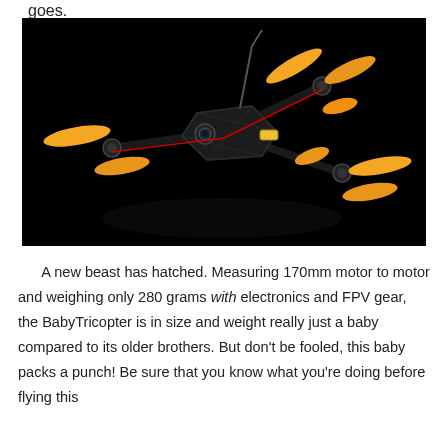goes.
[Figure (photo): A small FPV racing drone called the BabyTricopter with orange propellers on a black background, photographed from above at an angle. The frame is black carbon fiber with a small camera on the front.]
A new beast has hatched. Measuring 170mm motor to motor and weighing only 280 grams with electronics and FPV gear, the BabyTricopter is in size and weight really just a baby compared to its older brothers. But don't be fooled, this baby packs a punch! Be sure that you know what you're doing before flying this